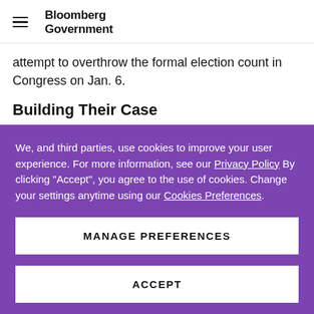Bloomberg Government
attempt to overthrow the formal election count in Congress on Jan. 6.
Building Their Case
We, and third parties, use cookies to improve your user experience. For more information, see our Privacy Policy By clicking "Accept", you agree to the use of cookies. Change your settings anytime using our Cookies Preferences.
MANAGE PREFERENCES
ACCEPT